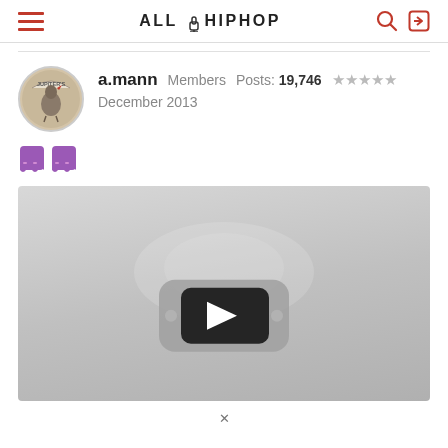ALL HIP HOP
a.mann   Members   Posts: 19,746   ★★★★★
December 2013
[Figure (screenshot): Two small pixel-art ghost emoji icons side by side]
[Figure (screenshot): Embedded video player thumbnail showing a gray background with a YouTube-style play button (dark rounded rectangle with white triangle)]